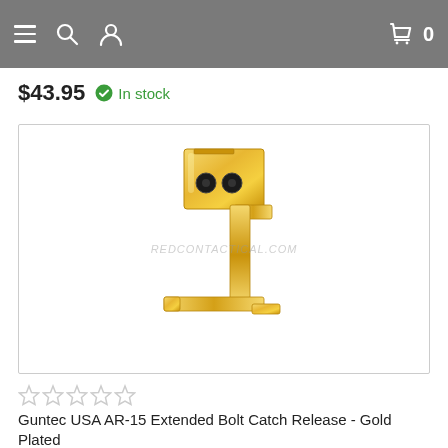Navigation bar with menu, search, user icons and shopping bag with 0
$43.95  In stock
[Figure (photo): Gold-plated AR-15 Extended Bolt Catch Release component, J-shaped metal part with two black circular holes at top, displayed against white background. Watermark reads REDCONTACTICAL.COM]
★★★★★ (empty stars)
Guntec USA AR-15 Extended Bolt Catch Release - Gold Plated